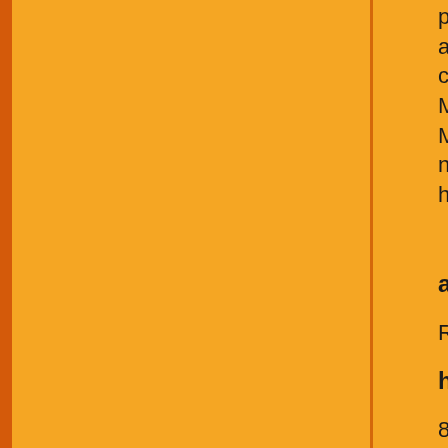palpitations, sweating, anxiety, hunger, nausea and symptoms of hypoglycemia include difficulty, confusion, drowsiness, vision changes, difficulty. Mild hypoglycemia is characterized by the presence. Moderate hypoglycemia is characterized by the neuroglycopenic symptoms. Individuals may be hypoglycemia.
absorption
Rapidly absorbed following subcutaneous adm
half life
81 minutes
drug interactions
Acebutolol: The beta-blocker, acebutolol, may
Atenolol: The beta-blocker, atenolol, may decr
Bisoprolol: The beta-blocker, bisoprolol, may d
Carvedilol: The beta-blocker, carvedilol, may d
Clofibrate: Increases the effect of insulin
Dexfenfluramine: Fenfluramine increases the